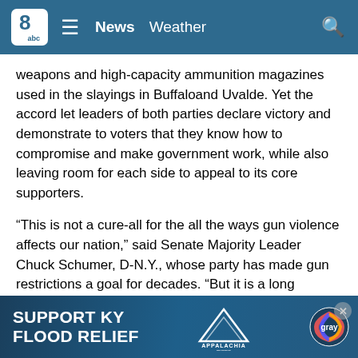8abc | News  Weather
weapons and high-capacity ammunition magazines used in the slayings in Buffaloand Uvalde. Yet the accord let leaders of both parties declare victory and demonstrate to voters that they know how to compromise and make government work, while also leaving room for each side to appeal to its core supporters.
“This is not a cure-all for the all the ways gun violence affects our nation,” said Senate Majority Leader Chuck Schumer, D-N.Y., whose party has made gun restrictions a goal for decades. “But it is a long overdue step in the right direction.”
Senate Minority Leader Mitch McConnell, R-Ky., in a nod to the Second Amendment right to bear arms that drives many c[...] want their co[...] be safe in scho[...]
[Figure (infographic): SUPPORT KY FLOOD RELIEF banner advertisement with Appalachia Rises and Gray Television logos]